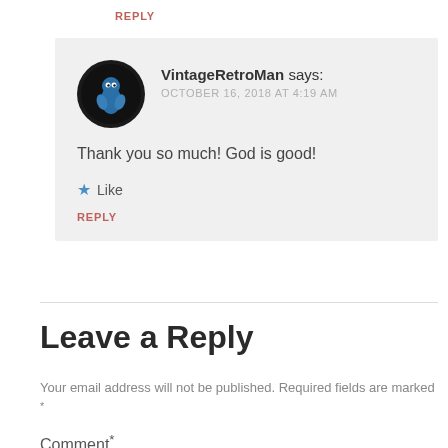REPLY
VintageRetroMan says:
OCTOBER 16, 2018 AT 4:19 AM
Thank you so much! God is good!
★ Like
REPLY
Leave a Reply
Your email address will not be published. Required fields are marked *
Comment *